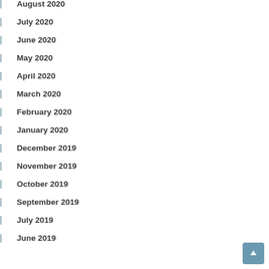August 2020
July 2020
June 2020
May 2020
April 2020
March 2020
February 2020
January 2020
December 2019
November 2019
October 2019
September 2019
July 2019
June 2019